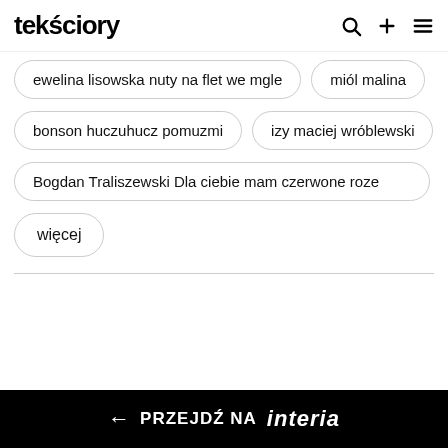tekściory
ewelina lisowska nuty na flet we mgle
miól malina
bonson huczuhucz pomuzmi
izy maciej wróblewski
Bogdan Traliszewski Dla ciebie mam czerwone roze
więcej
← PRZEJDŹ NA interia